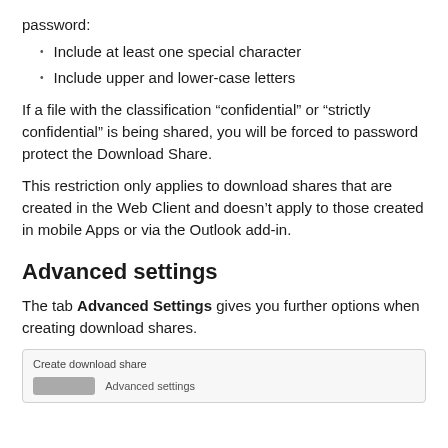password:
Include at least one special character
Include upper and lower-case letters
If a file with the classification “confidential” or “strictly confidential” is being shared, you will be forced to password protect the Download Share.
This restriction only applies to download shares that are created in the Web Client and doesn’t apply to those created in mobile Apps or via the Outlook add-in.
Advanced settings
The tab Advanced Settings gives you further options when creating download shares.
[Figure (screenshot): Screenshot of Create download share UI panel showing a button]